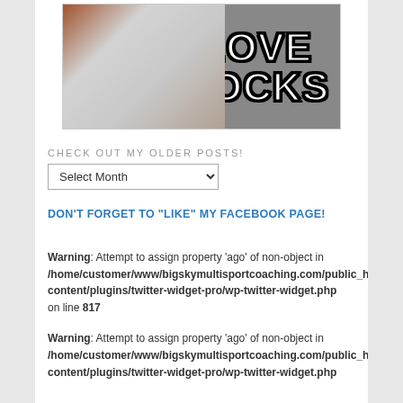[Figure (photo): A meme-style image showing a husky/wolf-like dog chewing on a sock, with large bold text 'LOVE SOCKS' overlaid on the right side.]
CHECK OUT MY OLDER POSTS!
Select Month (dropdown)
DON'T FORGET TO "LIKE" MY FACEBOOK PAGE!
Warning: Attempt to assign property 'ago' of non-object in /home/customer/www/bigskymultisportcoaching.com/public_html/wp-content/plugins/twitter-widget-pro/wp-twitter-widget.php on line 817
Warning: Attempt to assign property 'ago' of non-object in /home/customer/www/bigskymultisportcoaching.com/public_html/wp-content/plugins/twitter-widget-pro/wp-twitter-widget.php